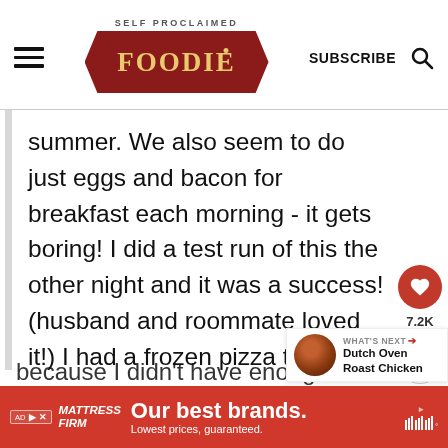SELF PROCLAIMED FOODIE — SUBSCRIBE
summer. We also seem to do just eggs and bacon for breakfast each morning - it gets boring! I did a test run of this the other night and it was a success! (husband and roommate loved it!) I had a frozen pizza tucked away just in case it failed on me (almost did because I didn't have enough
[Figure (other): What's Next: Dutch Oven Roast Chicken thumbnail with circular food photo]
Ad: MATTRESS FIRM — Our best brands. Lowest prices, guaranteed.